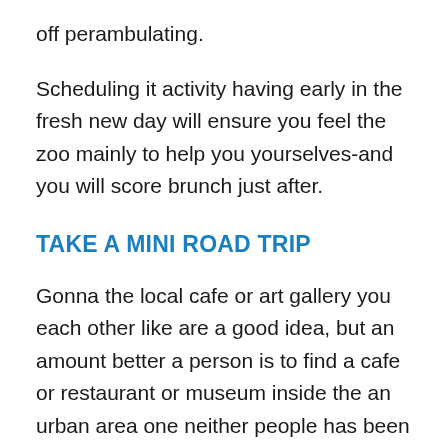off perambulating.
Scheduling it activity having early in the fresh new day will ensure you feel the zoo mainly to help you yourselves-and you will score brunch just after.
TAKE A MINI ROAD TRIP
Gonna the local cafe or art gallery you each other like are a good idea, but an amount better a person is to find a cafe or restaurant or museum inside the an urban area one neither people has been to prior to. You may designate